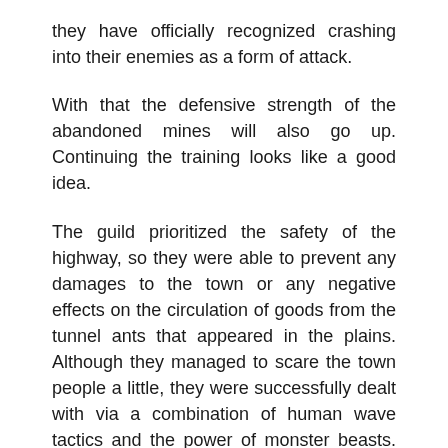they have officially recognized crashing into their enemies as a form of attack.
With that the defensive strength of the abandoned mines will also go up. Continuing the training looks like a good idea.
The guild prioritized the safety of the highway, so they were able to prevent any damages to the town or any negative effects on the circulation of goods from the tunnel ants that appeared in the plains. Although they managed to scare the town people a little, they were successfully dealt with via a combination of human wave tactics and the power of monster beasts. Thanks to that, tourists poured into town and the atmosphere of a spectacular festival filled the air.